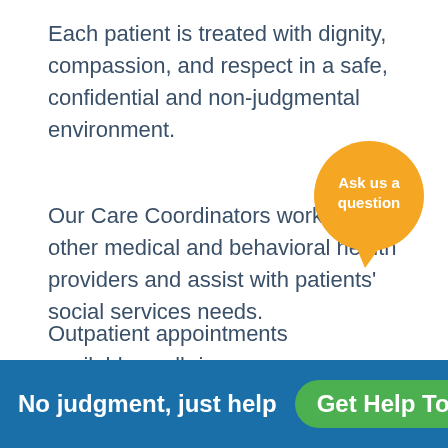Each patient is treated with dignity, compassion, and respect in a safe, confidential and non-judgmental environment.
Our Care Coordinators work with other medical and behavioral health providers and assist with patients' social services needs.
Outpatient appointments available, walk-in or phone.
[Figure (illustration): Orange speech bubble graphic with text 'Ask us a question']
No judgment, just help   Get Help Today